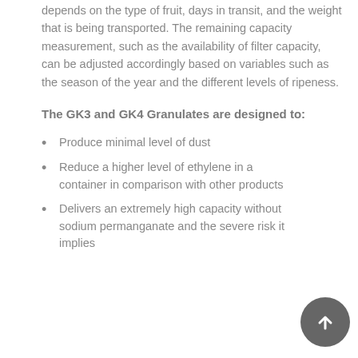depends on the type of fruit, days in transit, and the weight that is being transported. The remaining capacity measurement, such as the availability of filter capacity, can be adjusted accordingly based on variables such as the season of the year and the different levels of ripeness.
The GK3 and GK4 Granulates are designed to:
Produce minimal level of dust
Reduce a higher level of ethylene in a container in comparison with other products
Delivers an extremely high capacity without sodium permanganate and the severe risk it implies